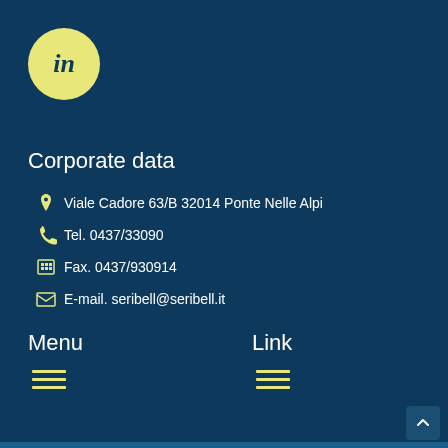[Figure (logo): LinkedIn logo in yellow circle on dark blue background]
Corporate data
Viale Cadore 63/B 32014 Ponte Nelle Alpi
Tel. 0437/33090
Fax. 0437/930914
E-mail. seribell@seribell.it
Menu
Link